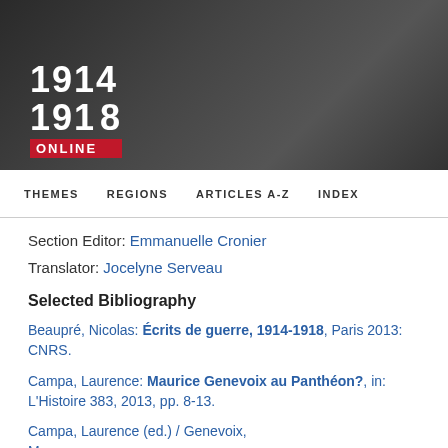[Figure (logo): 1914-1918 Online website header banner with dark background and logo showing '1914' and '1918' in white bold text with red 'ONLINE' label]
THEMES   REGIONS   ARTICLES A-Z   INDEX
Section Editor: Emmanuelle Cronier
Translator: Jocelyne Serveau
Selected Bibliography
Beaupré, Nicolas: Écrits de guerre, 1914-1918, Paris 2013: CNRS.
Campa, Laurence: Maurice Genevoix au Panthéon?, in: L'Histoire 383, 2013, pp. 8-13.
Campa, Laurence (ed.) / Genevoix, Maurice: